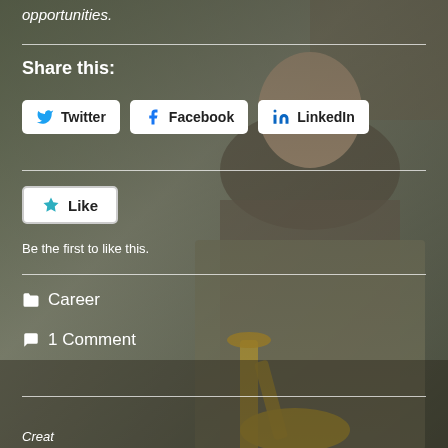opportunities.
Share this:
[Figure (other): Social share buttons: Twitter, Facebook, LinkedIn]
[Figure (other): Like button with star icon]
Be the first to like this.
Career
1 Comment
[Figure (photo): A bald man in a grey sport coat holding a trumpet, standing on a street with blurred outdoor background.]